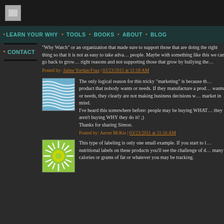LEARN YOUR WHY · TOOLS · BOOKS · ABOUT · BLOG
CONTACT
"Why Watch" or an organization that made sure to support those that are doing the right thing so that it is not as easy to take advantage of people. Maybe with something like this we can go back to growing for the right reasons and not supporting those that grow by bullying the...
Posted by: Jaime Yordan-Frau | 03/23/2011 at 11:18 AM
[Figure (illustration): Blue wavy lines avatar/profile image]
The only logical reason for this tricky "marketing" is because they have a product that nobody wants or needs. If they manufacture a product nobody wants or needs, they clearly are not making business decisions with their market in mind.
I've heard this somewhere before: people may be buying WHAT you do but they aren't buying WHY they do it! ;)
Thanks for sharing Simon.
Posted by: Aeron McKie | 03/23/2011 at 11:16 AM
[Figure (illustration): Green sunburst/sun avatar/profile image]
This type of labeling is only one small example. If you start to look at nutritional labels on these products you'll see the challenge of determining many calories or grams of fat or whatever you may be tracking.